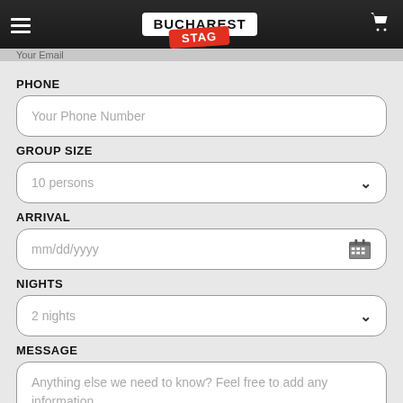BUCHAREST STAG
Your Email
PHONE
Your Phone Number
GROUP SIZE
10 persons
ARRIVAL
mm/dd/yyyy
NIGHTS
2 nights
MESSAGE
Anything else we need to know? Feel free to add any information.